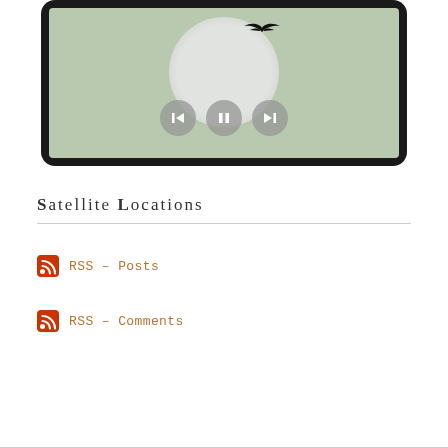[Figure (screenshot): A tablet device showing a nature/slideshow image with a bird silhouette in flight against a large moon circle on a sage-green background. Three circular media control buttons (back, pause, forward) are visible at the bottom of the screen.]
Satellite Locations
RSS – Posts
RSS – Comments